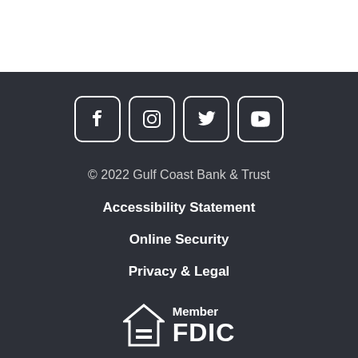[Figure (infographic): Social media icons: Facebook, Instagram, Twitter, YouTube — white icons in rounded square outlines on dark background]
© 2022 Gulf Coast Bank & Trust
Accessibility Statement
Online Security
Privacy & Legal
[Figure (logo): Equal Housing Lender icon and Member FDIC logo in white on dark background]